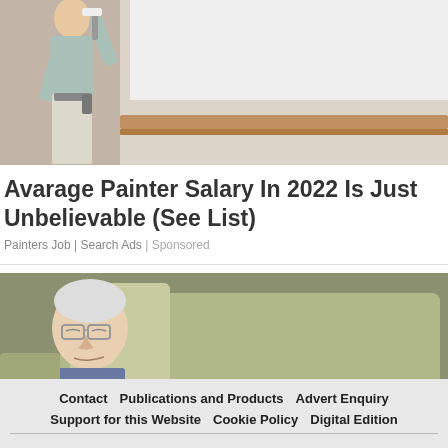[Figure (photo): A painter in a light blue shirt and white pants stands with back to camera, painting a wall in what appears to be a staircase area with a wooden railing]
Avarage Painter Salary In 2022 Is Just Unbelievable (See List)
Painters Job | Search Ads | Sponsored
[Figure (photo): An elderly man with white hair and glasses sleeping or dozing in a large armchair/recliner]
Contact  Publications and Products  Advert Enquiry  Support for this Website  Cookie Policy  Digital Edition